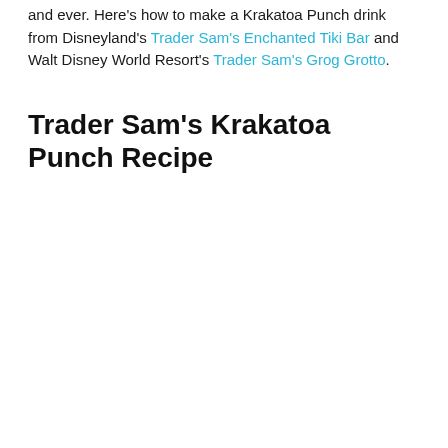and ever. Here's how to make a Krakatoa Punch drink from Disneyland's Trader Sam's Enchanted Tiki Bar and Walt Disney World Resort's Trader Sam's Grog Grotto.
Trader Sam's Krakatoa Punch Recipe